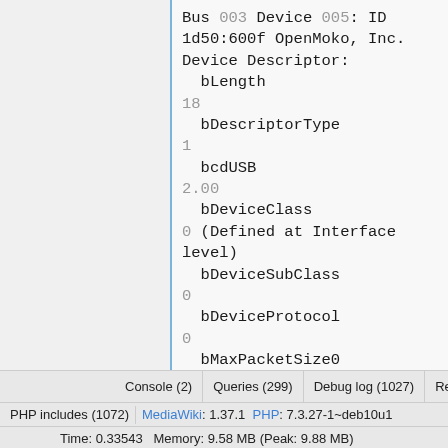Bus 003 Device 005: ID 1d50:600f OpenMoko, Inc.
Device Descriptor:
  bLength
18
  bDescriptorType
1
  bcdUSB
2.00
  bDeviceClass
0 (Defined at Interface level)
  bDeviceSubClass
0
  bDeviceProtocol
0
  bMaxPacketSize0
64
Console (2)  Queries (299)  Debug log (1027)  Request  PHP includes (1072)  MediaWiki: 1.37.1  PHP: 7.3.27-1~deb10u1  Time: 0.33543  Memory: 9.58 MB (Peak: 9.88 MB)